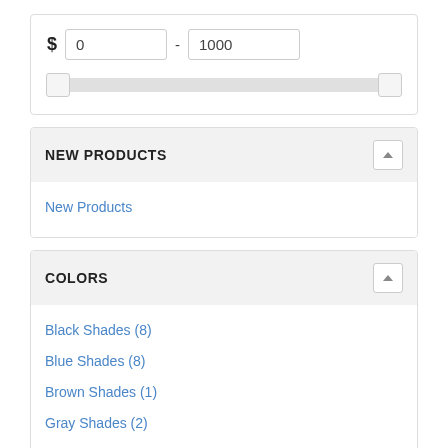$ 0 - 1000
NEW PRODUCTS
New Products
COLORS
Black Shades (8)
Blue Shades (8)
Brown Shades (1)
Gray Shades (2)
Green Shades (3)
Metallic Color Shades (2)
Pink Shades (2)
Purple Shades (2)